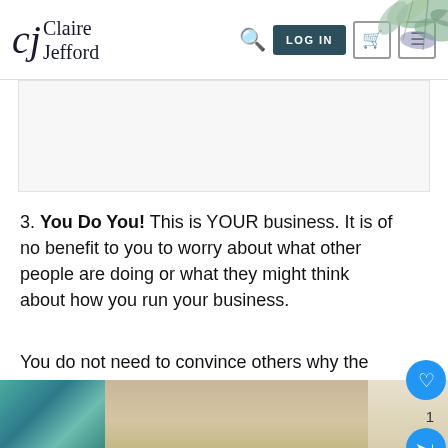CJ Claire Jefford — LOG IN navigation
3. You Do You! This is YOUR business. It is of no benefit to you to worry about what other people are doing or what they might think about how you run your business.
You do not need to convince others why the path you want to take is a good idea. Provide design and decorating services that excite YOU and make no excuses!
[Figure (photo): Bottom strip showing an interior room with curtains and abstract wall art]